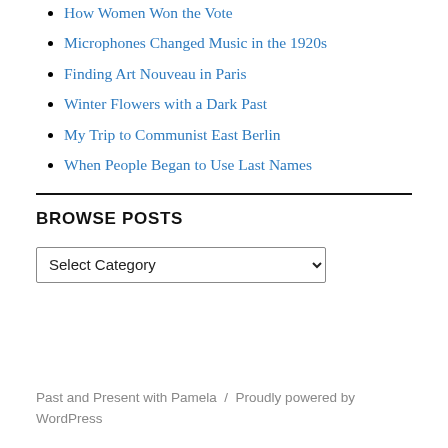How Women Won the Vote
Microphones Changed Music in the 1920s
Finding Art Nouveau in Paris
Winter Flowers with a Dark Past
My Trip to Communist East Berlin
When People Began to Use Last Names
BROWSE POSTS
Select Category
Past and Present with Pamela / Proudly powered by WordPress